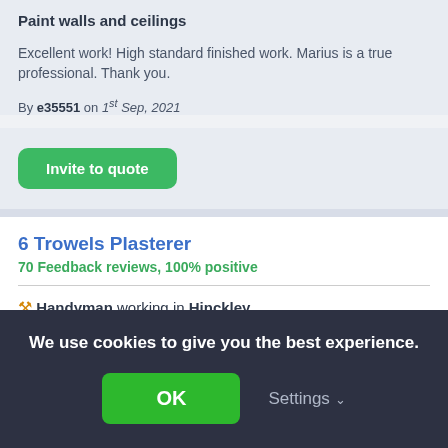Paint walls and ceilings
Excellent work! High standard finished work. Marius is a true professional. Thank you.
By e35551 on 1st Sep, 2021
Invite to quote
6 Trowels Plasterer
70 Feedback reviews, 100% positive
🔧 Handyman working in Hinckley
HELLO I'm Oliver, I've over 10 years experience in plastering from skimming to boarding, rendering,
We use cookies to give you the best experience.
OK
Settings ∨